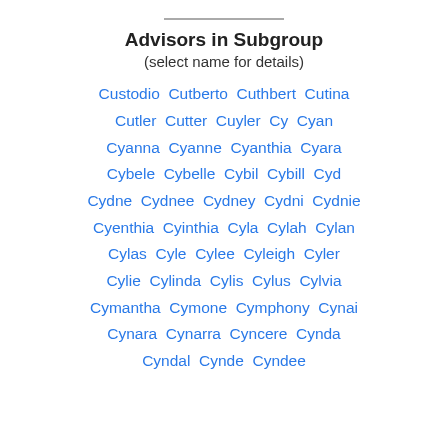Advisors in Subgroup
(select name for details)
Custodio  Cutberto  Cuthbert  Cutina  Cutler  Cutter  Cuyler  Cy  Cyan  Cyanna  Cyanne  Cyanthia  Cyara  Cybele  Cybelle  Cybil  Cybill  Cyd  Cydne  Cydnee  Cydney  Cydni  Cydnie  Cyenthia  Cyinthia  Cyla  Cylah  Cylan  Cylas  Cyle  Cylee  Cyleigh  Cyler  Cylie  Cylinda  Cylis  Cylus  Cylvia  Cymantha  Cymone  Cymphony  Cynai  Cynara  Cynarra  Cyncere  Cynda  Cyndal  Cynde  Cyndee